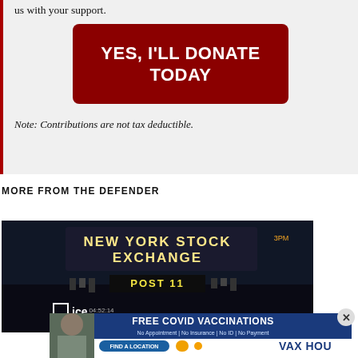us with your support.
YES, I'LL DONATE TODAY
Note: Contributions are not tax deductible.
MORE FROM THE DEFENDER
[Figure (photo): New York Stock Exchange sign with POST 11 and ICE display, Thursday May 2020]
[Figure (photo): Advertisement banner: FREE COVID VACCINATIONS - No Appointment | No Insurance | No ID | No Payment - FIND A LOCATION - VAX HOU]